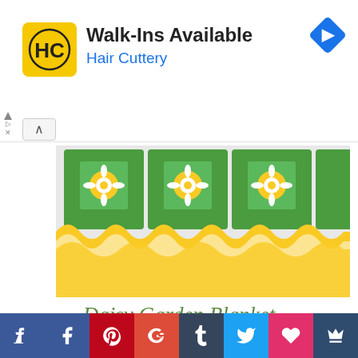[Figure (other): Hair Cuttery advertisement banner with HC logo, Walk-Ins Available text, and blue navigation arrow icon]
[Figure (photo): Crochet daisy garden blanket with green and yellow squares and white daisy flowers with ruffled yellow border]
Daisy Garden Blanket
Free Crochet Pattern + Video
[Figure (photo): Close-up of hands crocheting a green daisy square with white and yellow flower center using a red crochet hook]
[Figure (other): Social media sharing bar with buttons: Facebook Like, Facebook, Pinterest, Google+, Tumblr, Twitter, Heart/Love, Crown]